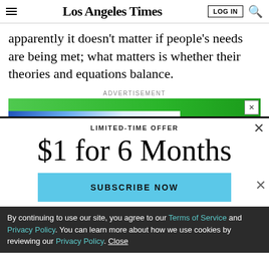Los Angeles Times
apparently it doesn't matter if people's needs are being met; what matters is whether their theories and equations balance.
ADVERTISEMENT
[Figure (screenshot): Advertisement banner with green background and blue gradient strip, with X close button]
LIMITED-TIME OFFER
$1 for 6 Months
SUBSCRIBE NOW
By continuing to use our site, you agree to our Terms of Service and Privacy Policy. You can learn more about how we use cookies by reviewing our Privacy Policy. Close